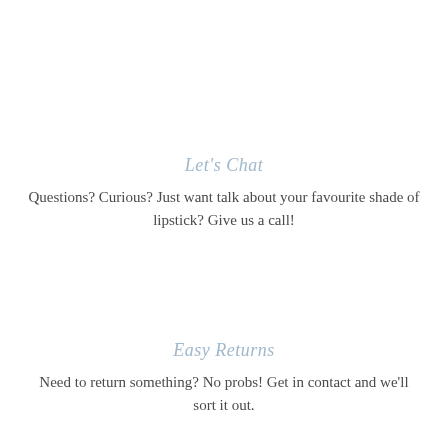Let's Chat
Questions? Curious? Just want talk about your favourite shade of lipstick? Give us a call!
Easy Returns
Need to return something? No probs! Get in contact and we'll sort it out.